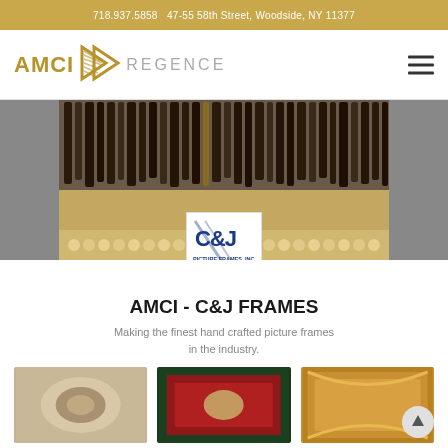718.937.5858   47-55 58th Street, Woodside, NY 11377
[Figure (logo): AMCI Regence logo with gold arrow chevron and grey REGENCE text]
[Figure (photo): Photo of multiple woodworking chisels and tools laid on a workbench with wood shavings, with C&J Picture Frames Inc. logo overlay]
AMCI - C&J FRAMES
Making the finest hand crafted picture frames in the industry.
[Figure (photo): Three thumbnail photos of decorative picture frames at the bottom of the page]